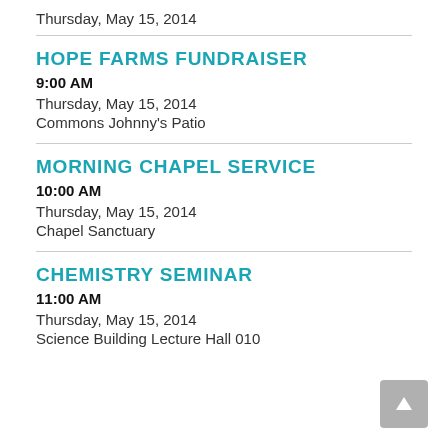Thursday, May 15, 2014
HOPE FARMS FUNDRAISER
9:00 AM
Thursday, May 15, 2014
Commons Johnny's Patio
MORNING CHAPEL SERVICE
10:00 AM
Thursday, May 15, 2014
Chapel Sanctuary
CHEMISTRY SEMINAR
11:00 AM
Thursday, May 15, 2014
Science Building Lecture Hall 010